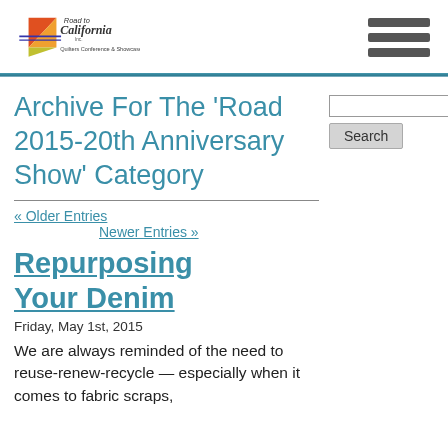[Figure (logo): Road to California Quilters Conference & Showcase logo with colorful quilt design]
Archive For The 'Road 2015-20th Anniversary Show' Category
« Older Entries
Newer Entries »
Repurposing Your Denim
Friday, May 1st, 2015
We are always reminded of the need to reuse-renew-recycle — especially when it comes to fabric scraps,